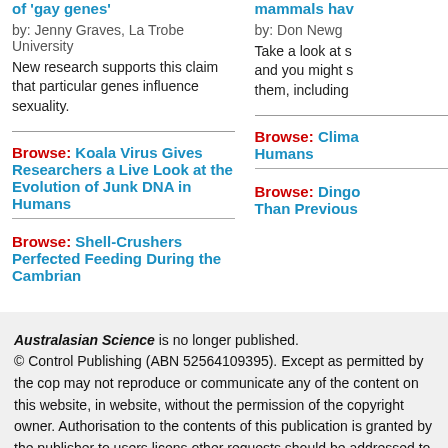of 'gay genes'
by: Jenny Graves, La Trobe University
New research supports this claim that particular genes influence sexuality.
mammals hav
by: Don Newg
Take a look at s and you might s them, including
Browse: Koala Virus Gives Researchers a Live Look at the Evolution of Junk DNA in Humans
Browse: Clima Humans
Browse: Shell-Crushers Perfected Feeding During the Cambrian
Browse: Dingo Than Previous
Australasian Science is no longer published. © Control Publishing (ABN 52564109395). Except as permitted by the cop may not reproduce or communicate any of the content on this website, in website, without the permission of the copyright owner. Authorisation to the contents of this publication is granted by the publisher to users licens other requests should be addressed to Control Publishing. Website designed by Delphinus Creative